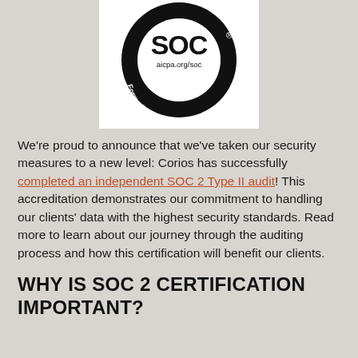[Figure (logo): AICPA SOC logo — circular badge with 'SOC aicpa.org/soc Formerly SAS 70 Reports ®' text on a black ring with white background]
We're proud to announce that we've taken our security measures to a new level: Corios has successfully completed an independent SOC 2 Type II audit! This accreditation demonstrates our commitment to handling our clients' data with the highest security standards. Read more to learn about our journey through the auditing process and how this certification will benefit our clients.
WHY IS SOC 2 CERTIFICATION IMPORTANT?